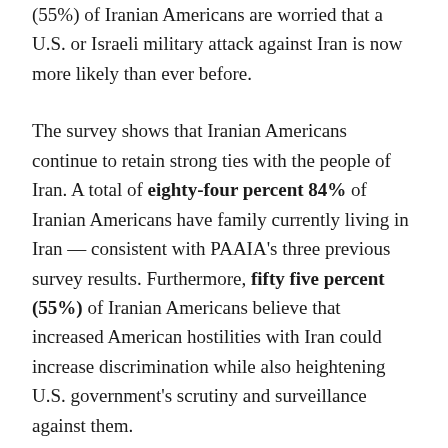(55%) of Iranian Americans are worried that a U.S. or Israeli military attack against Iran is now more likely than ever before.
The survey shows that Iranian Americans continue to retain strong ties with the people of Iran. A total of eighty-four percent 84% of Iranian Americans have family currently living in Iran — consistent with PAAIA's three previous survey results. Furthermore, fifty five percent (55%) of Iranian Americans believe that increased American hostilities with Iran could increase discrimination while also heightening U.S. government's scrutiny and surveillance against them.
Almost two-thirds (63%) of Iranian Americans oppose military action against Iran's nuclear sites or other facilities. In contrast thirteen percent (13%)